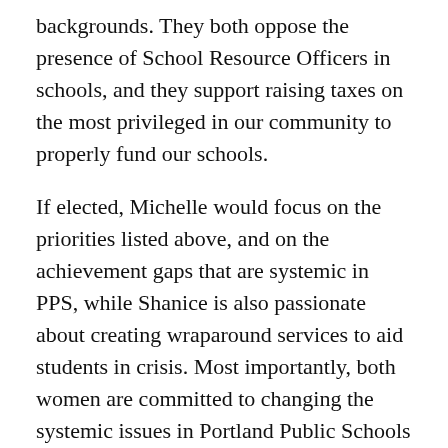backgrounds. They both oppose the presence of School Resource Officers in schools, and they support raising taxes on the most privileged in our community to properly fund our schools.
If elected, Michelle would focus on the priorities listed above, and on the achievement gaps that are systemic in PPS, while Shanice is also passionate about creating wraparound services to aid students in crisis. Most importantly, both women are committed to changing the systemic issues in Portland Public Schools that have left so many students behind.
These candidates represent the values of